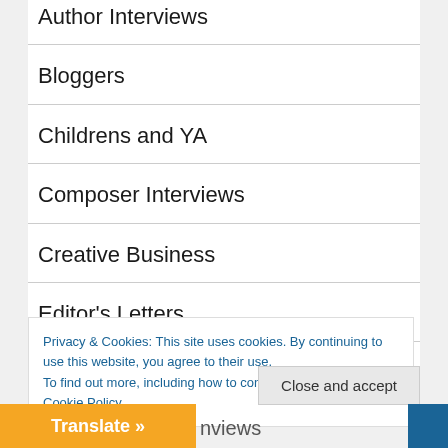Author Interviews
Bloggers
Childrens and YA
Composer Interviews
Creative Business
Editor's Letters
Privacy & Cookies: This site uses cookies. By continuing to use this website, you agree to their use.
To find out more, including how to control cookies, see here: Cookie Policy
Close and accept
Translate »